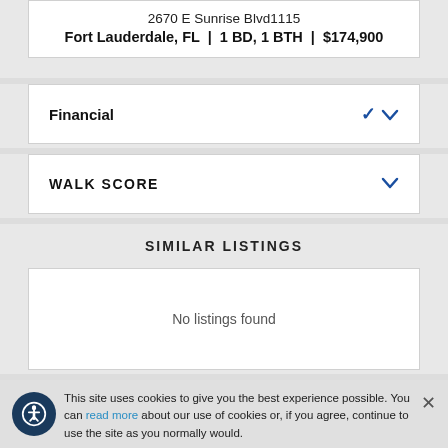2670 E Sunrise Blvd1115 Fort Lauderdale, FL | 1 BD, 1 BTH | $174,900
Financial
WALK SCORE
SIMILAR LISTINGS
No listings found
This site uses cookies to give you the best experience possible. You can read more about our use of cookies or, if you agree, continue to use the site as you normally would.